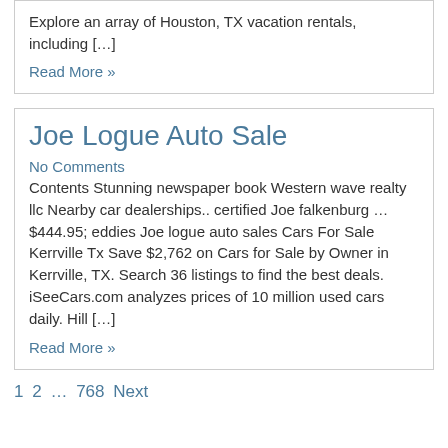Explore an array of Houston, TX vacation rentals, including […]
Read More »
Joe Logue Auto Sale
No Comments
Contents Stunning newspaper book Western wave realty llc Nearby car dealerships.. certified Joe falkenburg … $444.95; eddies Joe logue auto sales Cars For Sale Kerrville Tx Save $2,762 on Cars for Sale by Owner in Kerrville, TX. Search 36 listings to find the best deals. iSeeCars.com analyzes prices of 10 million used cars daily. Hill […]
Read More »
1 2 … 768 Next